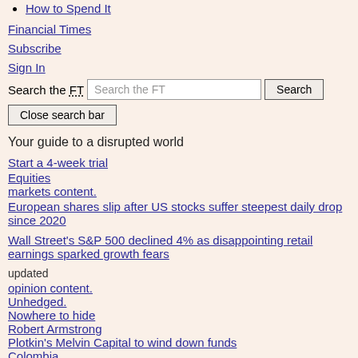How to Spend It
Financial Times
Subscribe
Sign In
Search the FT [Search the FT] [Search] [Close search bar]
Your guide to a disrupted world
Start a 4-week trial
Equities
markets content.
European shares slip after US stocks suffer steepest daily drop since 2020
Wall Street's S&P 500 declined 4% as disappointing retail earnings sparked growth fears
updated
opinion content.
Unhedged.
Nowhere to hide
Robert Armstrong
Plotkin's Melvin Capital to wind down funds
Colombia